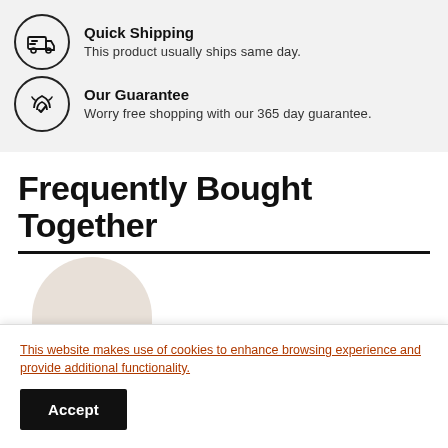Quick Shipping — This product usually ships same day.
Our Guarantee — Worry free shopping with our 365 day guarantee.
Frequently Bought Together
[Figure (illustration): Top half of a rounded product image, beige/tan semicircle]
This website makes use of cookies to enhance browsing experience and provide additional functionality.
Accept